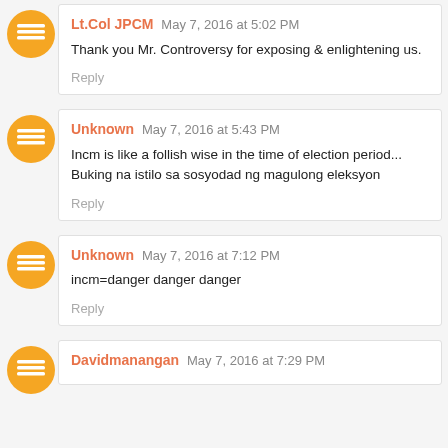Lt.Col JPCM May 7, 2016 at 5:02 PM
Thank you Mr. Controversy for exposing & enlightening us.
Reply
Unknown May 7, 2016 at 5:43 PM
Incm is like a follish wise in the time of election period...
Buking na istilo sa sosyodad ng magulong eleksyon
Reply
Unknown May 7, 2016 at 7:12 PM
incm=danger danger danger
Reply
Davidmanangan May 7, 2016 at 7:29 PM